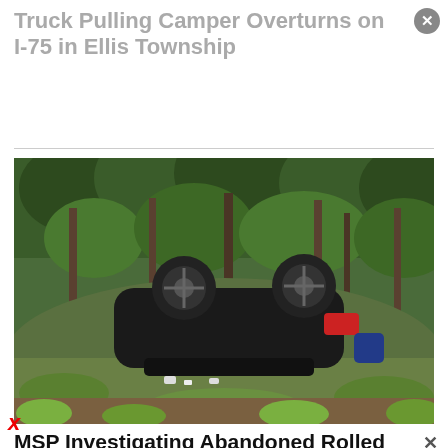Truck Pulling Camper Overturns on I-75 in Ellis Township
[Figure (photo): Overturned black vehicle lying upside down on its roof in a wooded area with green vegetation and trees in background]
MSP Investigating Abandoned Rolled
X